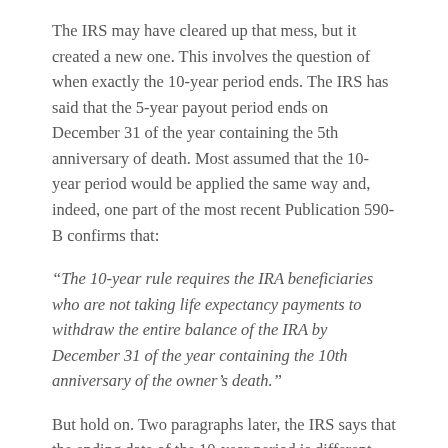The IRS may have cleared up that mess, but it created a new one. This involves the question of when exactly the 10-year period ends. The IRS has said that the 5-year payout period ends on December 31 of the year containing the 5th anniversary of death. Most assumed that the 10-year period would be applied the same way and, indeed, one part of the most recent Publication 590-B confirms that:
“The 10-year rule requires the IRA beneficiaries who are not taking life expectancy payments to withdraw the entire balance of the IRA by December 31 of the year containing the 10th anniversary of the owner’s death.”
But hold on. Two paragraphs later, the IRS says that the ending date of the 10-year period is different when a beneficiary